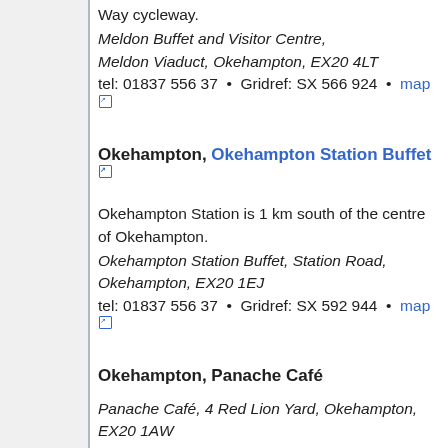Way cycleway.
Meldon Buffet and Visitor Centre, Meldon Viaduct, Okehampton, EX20 4LT
tel: 01837 556 37  •  Gridref: SX 566 924  •  map
Okehampton, Okehampton Station Buffet
Okehampton Station is 1 km south of the centre of Okehampton.
Okehampton Station Buffet, Station Road, Okehampton, EX20 1EJ
tel: 01837 556 37  •  Gridref: SX 592 944  •  map
Okehampton, Panache Café
Panache Café, 4 Red Lion Yard, Okehampton, EX20 1AW
tel: 01837 242 34  •  Gridref: SX 587 952  •  map